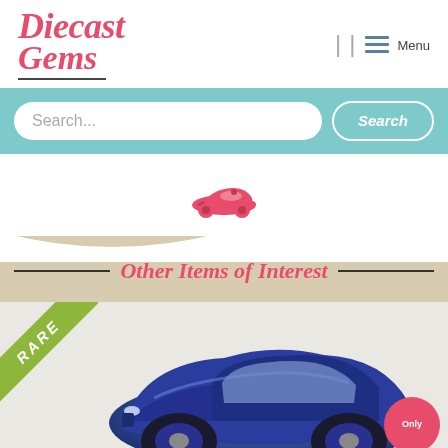Diecast Gems
[Figure (logo): Diecast Gems logo in red italic script with underline]
[Figure (screenshot): Navigation icons: separator bars and hamburger menu icon with Menu label]
Search...
Search
[Figure (illustration): Small red vintage/classic car icon illustration]
Other Items of Interest
[Figure (photo): Photo of a blue diecast model car with RARE corner badge in green and Only badge in red at bottom right]